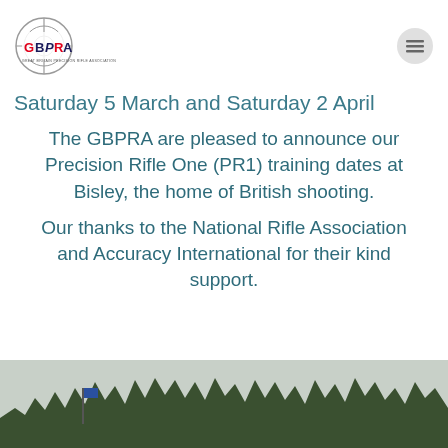[Figure (logo): GBPRA (Great Britain Precision Rifle Association) logo with crosshair and stylized text, plus a hamburger menu icon on the right]
Saturday 5 March and Saturday 2 April
The GBPRA are pleased to announce our Precision Rifle One (PR1) training dates at Bisley, the home of British shooting.
Our thanks to the National Rifle Association and Accuracy International for their kind support.
[Figure (photo): Landscape photo showing a treeline against an overcast sky with a flag on a flagpole in the foreground]